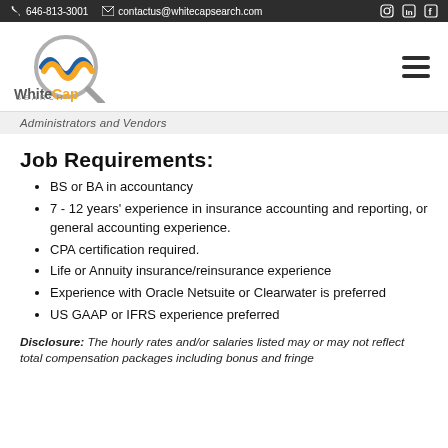646-813-3001   contactus@whitecapsearch.com
[Figure (logo): WhiteCap Search logo with wave and magnifying glass icon]
Administrators and Vendors
Job Requirements:
BS or BA in accountancy
7 - 12 years' experience in insurance accounting and reporting, or general accounting experience.
CPA certification required.
Life or Annuity insurance/reinsurance experience
Experience with Oracle Netsuite or Clearwater is preferred
US GAAP or IFRS experience preferred
Disclosure: The hourly rates and/or salaries listed may or may not reflect total compensation packages including bonus and fringe